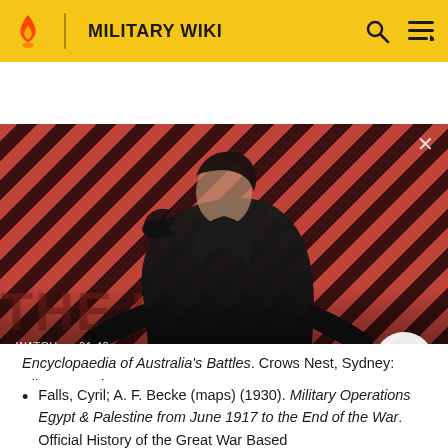MILITARY WIKI
[Figure (screenshot): Video thumbnail with striped red/dark background and person in black coat with raven on shoulder. Title reads 'The Sandman Will Keep You Awake - The Loop'. Watch duration 01:40. Play button visible.]
Encyclopaedia of Australia's Battles. Crows Nest, Sydney: Allan & Unwin. OCLC 231965802.
Falls, Cyril; A. F. Becke (maps) (1930). Military Operations Egypt & Palestine from June 1917 to the End of the War. Official History of the Great War Based